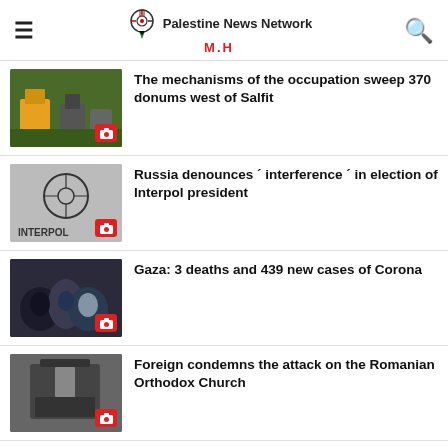Palestine News Network M.H
The mechanisms of the occupation sweep 370 donums west of Salfit
Russia denounces ´ interference ´ in election of Interpol president
Gaza: 3 deaths and 439 new cases of Corona
Foreign condemns the attack on the Romanian Orthodox Church
Updated Occupation launches a large campaign of arrests